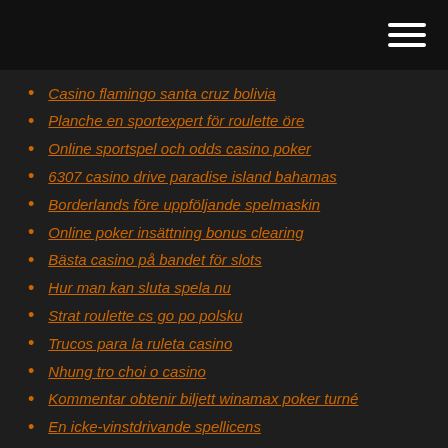Casino flamingo santa cruz bolivia
Planche en sportexpert för roulette öre
Online sportspel och odds casino poker
6307 casino drive paradise island bahamas
Borderlands före uppföljande spelmaskin
Online poker insättning bonus clearing
Bästa casino på bandet för slots
Hur man kan sluta spela nu
Strat roulette cs go po polsku
Trucos para la ruleta casino
Nhung tro choi o casino
Kommentar obtenir biljett winamax poker turné
En icke-vinstdrivande spellicens
Casino på hilton park lane